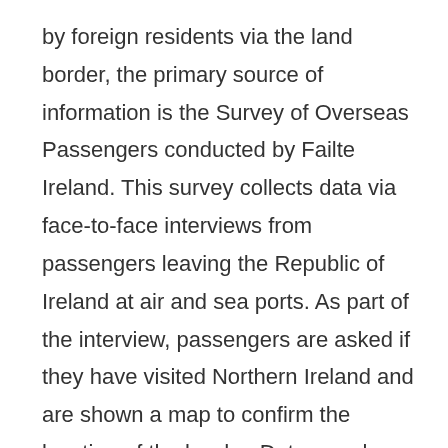by foreign residents via the land border, the primary source of information is the Survey of Overseas Passengers conducted by Failte Ireland. This survey collects data via face-to-face interviews from passengers leaving the Republic of Ireland at air and sea ports. As part of the interview, passengers are asked if they have visited Northern Ireland and are shown a map to confirm the location of the border. Data are also used from the Household Travel Survey conducted by the Central Statistics Office (CSO) of the Republic of Ireland to capture any visits from Republic of Ireland across the land border to Northern Ireland. While these data sources do have some limitations (for example, the Survey of Overseas Passengers uses